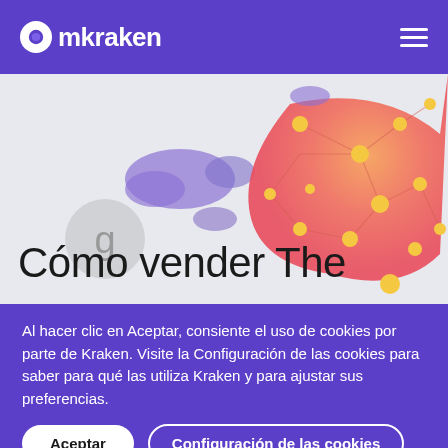mkraken
[Figure (illustration): Decorative hero illustration with colorful blob shapes in purple, orange-red gradient with yellow dots/circles, and a grey circular icon with letter g, on a light grey background]
Cómo vender The
Al hacer clic en Aceptar, consiente el uso de cookies por parte de Kraken. Visite la Configuración de las cookies para saber para qué las utiliza Kraken y para ajustar sus preferencias.
Aceptar | Configuración de las cookies